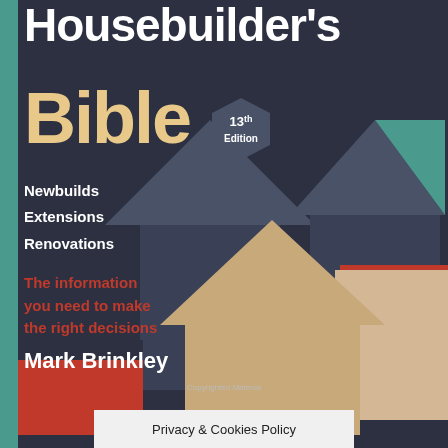[Figure (illustration): Book cover of The Housebuilder's Bible 13th Edition by Mark Brinkley. Dark charcoal background with geometric house silhouettes in grey, teal, red/crimson, and beige/tan colors. A teal vertical strip runs along the left edge.]
Housebuilder's Bible
13th Edition
Newbuilds
Extensions
Renovations
The information you need to make the right decisions
Mark Brinkley
Copyrighted Material
Privacy & Cookies Policy